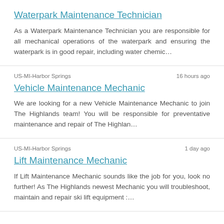Waterpark Maintenance Technician
As a Waterpark Maintenance Technician you are responsible for all mechanical operations of the waterpark and ensuring the waterpark is in good repair, including water chemic…
US-MI-Harbor Springs | 16 hours ago
Vehicle Maintenance Mechanic
We are looking for a new Vehicle Maintenance Mechanic to join The Highlands team! You will be responsible for preventative maintenance and repair of The Highlan…
US-MI-Harbor Springs | 1 day ago
Lift Maintenance Mechanic
If Lift Maintenance Mechanic sounds like the job for you, look no further! As The Highlands newest Mechanic you will troubleshoot, maintain and repair ski lift equipment :…